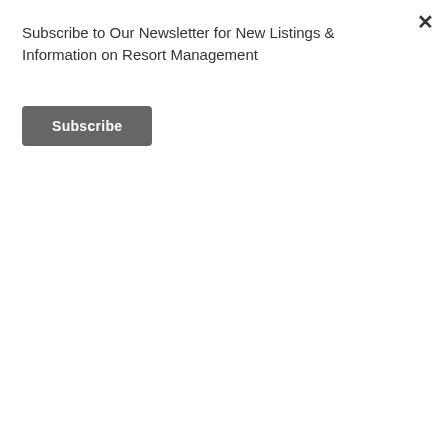Subscribe to Our Newsletter for New Listings & Information on Resort Management
Subscribe
[Figure (photo): Dark image strip showing a property photo with an orange 'For Sale' badge in the bottom right corner]
$790,000 USD - Villas
This is a very unique property and a perfect business opportunity for anyone wishing to relocate to the Dominican Republic, live steps from the beach...
More Details ▶
3600 m2 Sq M
12 Rooms